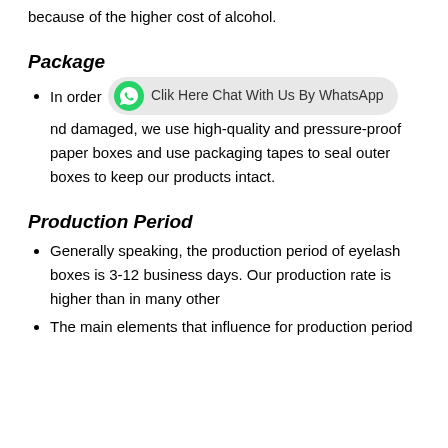because of the higher cost of alcohol.
Package
In order to keep products from being lost and damaged, we use high-quality and pressure-proof paper boxes and use packaging tapes to seal outer boxes to keep our products intact.
Production Period
Generally speaking, the production period of eyelash boxes is 3-12 business days. Our production rate is higher than in many other
The main elements that influence for production period